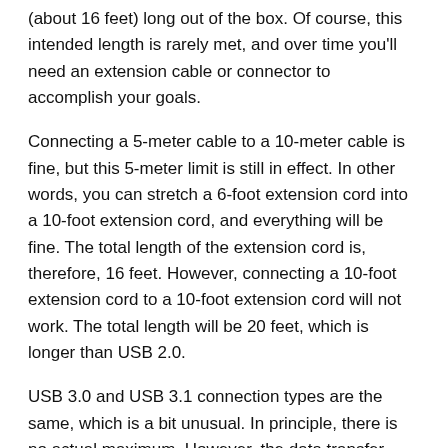(about 16 feet) long out of the box. Of course, this intended length is rarely met, and over time you'll need an extension cable or connector to accomplish your goals.
Connecting a 5-meter cable to a 10-meter cable is fine, but this 5-meter limit is still in effect. In other words, you can stretch a 6-foot extension cord into a 10-foot extension cord, and everything will be fine. The total length of the extension cord is, therefore, 16 feet. However, connecting a 10-foot extension cord to a 10-foot extension cord will not work. The total length will be 20 feet, which is longer than USB 2.0.
USB 3.0 and USB 3.1 connection types are the same, which is a bit unusual. In principle, there is no actual maximum. However, the data transfer speed will begin to degrade if you go beyond about three meters (about 10 feet). The longer the cable, the lower the speed and the less power it will have.